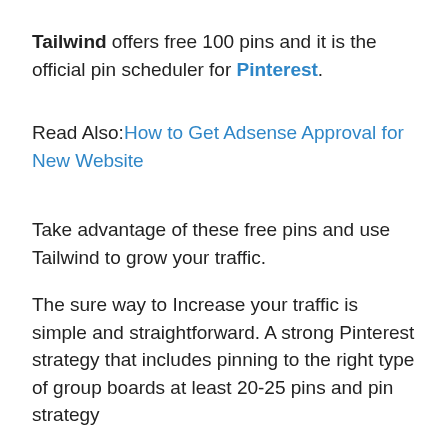Tailwind offers free 100 pins and it is the official pin scheduler for Pinterest.
Read Also:How to Get Adsense Approval for New Website
Take advantage of these free pins and use Tailwind to grow your traffic.
The sure way to Increase your traffic is simple and straightforward. A strong Pinterest strategy that includes pinning to the right type of group boards at least 20-25 pins and pin strategy